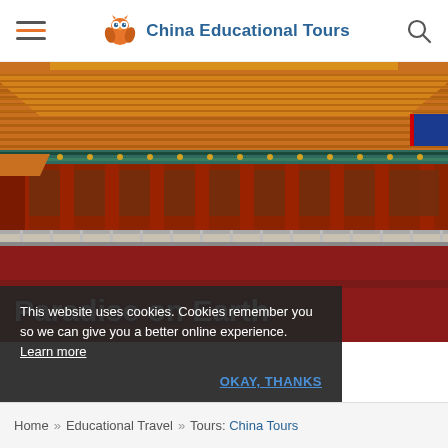China Educational Tours
[Figure (photo): Photograph of a traditional Chinese imperial palace building (Forbidden City, Beijing) with ornate orange/golden tiled rooftop layers, red pillars and walls, decorative painted friezes, and a blue sky backdrop. The foreground shows a red wall base and stone balustrade.]
Paradise on Earth
This website uses cookies. Cookies remember you so we can give you a better online experience. Learn more
OKAY, THANKS
Home » Educational Travel » Tours: China Tours